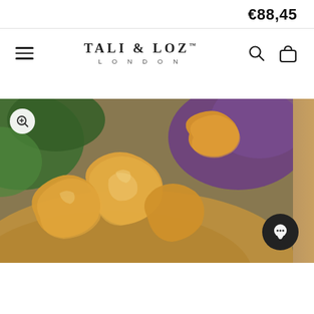€88,45
[Figure (logo): Tali & Loz London brand logo with hamburger menu, search icon, and bag icon]
[Figure (photo): Close-up photo of rough orange/golden calcite crystal chunks on a wooden surface, with green leaves and purple amethyst crystals in the background. A zoom button is in the top-left corner and a chat button in the bottom-right.]